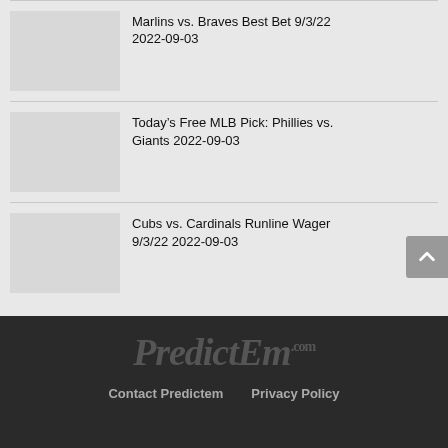Marlins vs. Braves Best Bet 9/3/22 2022-09-03
Today’s Free MLB Pick: Phillies vs. Giants 2022-09-03
Cubs vs. Cardinals Runline Wager 9/3/22 2022-09-03
PredictEm.com
Contact Predictem   Privacy Policy